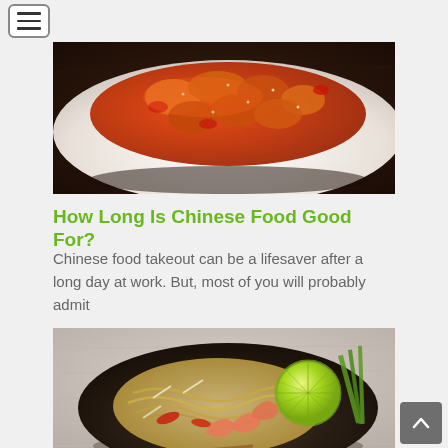Navigation menu button (hamburger icon)
[Figure (photo): Chinese sweet and sour dish with orange-red sauce on a white plate, seen from a slightly elevated angle on a dark wooden surface]
How Long Is Chinese Food Good For?
Chinese food takeout can be a lifesaver after a long day at work. But, most of you will probably admit
[Figure (photo): Asian noodle dish with shrimp, red peppers, bean sprouts, a halved lime, and green onions in a dark bowl, viewed from above]